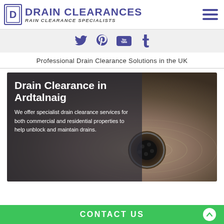DRAIN CLEARANCES — RAIN CLEARANCE SPECIALISTS
[Figure (infographic): Social media icons: Twitter, Pinterest, YouTube, Tumblr in purple]
Professional Drain Clearance Solutions in the UK
[Figure (photo): Photo of a drain with water swirling around it, with dark overlay box on left side containing hero text]
Drain Clearance in Ardtalnaig
We offer specialist drain clearance services for both commercial and residential properties to help unblock and maintain drains.
CONTACT US